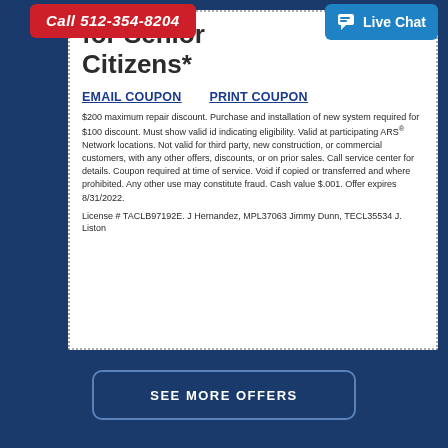Call 512-354-8204
Live Chat
for Senior Citizens*
EMAIL COUPON    PRINT COUPON
$200 maximum repair discount. Purchase and installation of new system required for $100 discount. Must show valid id indicating eligibility. Valid at participating ARS® Network locations. Not valid for third party, new construction, or commercial customers, with any other offers, discounts, or on prior sales. Call service center for details. Coupon required at time of service. Void if copied or transferred and where prohibited. Any other use may constitute fraud. Cash value $.001. Offer expires 8/31/2022.
License # TACLB97192E. J Hernandez, MPL37063 Jimmy Dunn, TECL35534 J. Liston
SEE MORE OFFERS